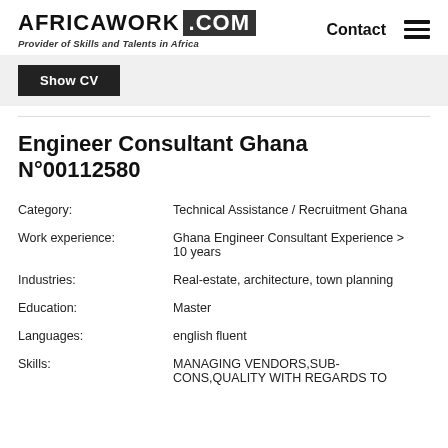AFRICAWORK .COM — Provider of Skills and Talents in Africa — Contact
Show CV
Engineer Consultant Ghana N°00112580
Category: Technical Assistance / Recruitment Ghana
Work experience: Ghana Engineer Consultant Experience > 10 years
Industries: Real-estate, architecture, town planning
Education: Master
Languages: english fluent
Skills: MANAGING VENDORS,SUB-CONS,QUALITY WITH REGARDS TO